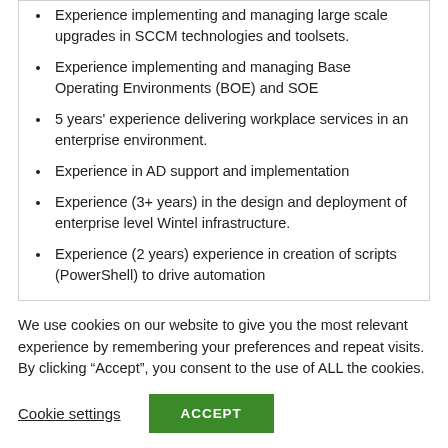Experience implementing and managing large scale upgrades in SCCM technologies and toolsets.
Experience implementing and managing Base Operating Environments (BOE) and SOE
5 years' experience delivering workplace services in an enterprise environment.
Experience in AD support and implementation
Experience (3+ years) in the design and deployment of enterprise level Wintel infrastructure.
Experience (2 years) experience in creation of scripts (PowerShell) to drive automation
We use cookies on our website to give you the most relevant experience by remembering your preferences and repeat visits. By clicking “Accept”, you consent to the use of ALL the cookies.
Cookie settings  ACCEPT